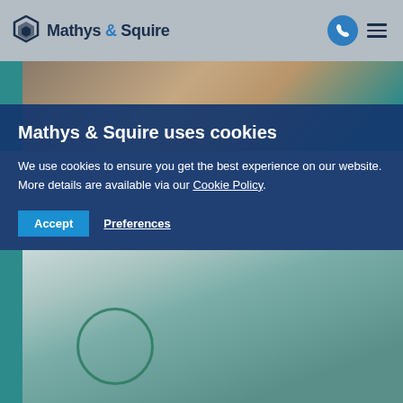[Figure (logo): Mathys & Squire logo with stylized hexagon icon and company name]
[Figure (photo): Top portion of a photo showing a person, partially visible]
Mathys & Squire uses cookies
We use cookies to ensure you get the best experience on our website. More details are available via our Cookie Policy.
Accept   Preferences
[Figure (photo): Bottom photo showing plastic/crinkled transparent material with a green circular ring/bottle cap visible]